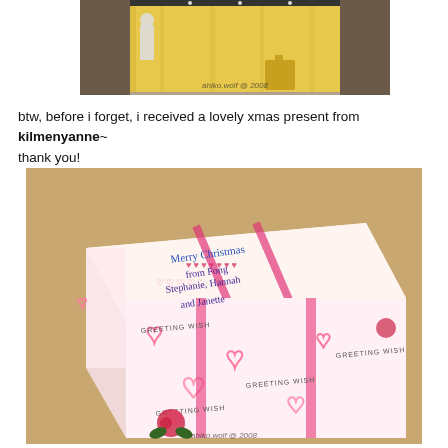[Figure (photo): A photo of a yellow-curtained stage or doorway with a person visible, watermarked 'ahiko.wolf @ 2008']
btw, before i forget, i received a lovely xmas present from kilmenyanne~ thank you!
[Figure (photo): A wrapped Christmas gift with heart-patterned pink and white wrapping paper that reads 'Merry Christmas from Stephanie, Fong, Hannah, and Janette'. Watermarked 'ahiko.wolf @ 2008']